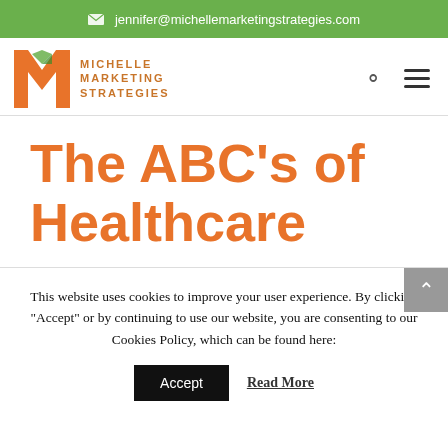jennifer@michellemarketingstrategies.com
[Figure (logo): Michelle Marketing Strategies logo with orange M and green diamond shapes]
The ABC's of Healthcare
This website uses cookies to improve your user experience. By clicking "Accept" or by continuing to use our website, you are consenting to our Cookies Policy, which can be found here:
Accept | Read More